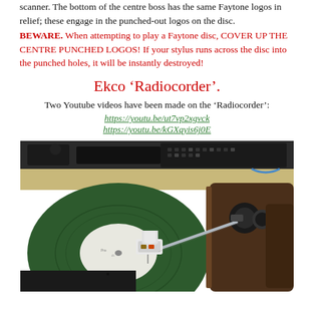scanner. The bottom of the centre boss has the same Faytone logos in relief; these engage in the punched-out logos on the disc.
BEWARE. When attempting to play a Faytone disc, COVER UP THE CENTRE PUNCHED LOGOS! If your stylus runs across the disc into the punched holes, it will be instantly destroyed!
Ekco ‘Radiocorder’.
Two Youtube videos have been made on the ‘Radiocorder’:
https://youtu.be/ut7vp2xgvck
https://youtu.be/kGXqyis6j0E
[Figure (photo): Close-up photograph of a record player stylus/tonearm assembly playing a green vinyl record, with radio equipment visible in the background]